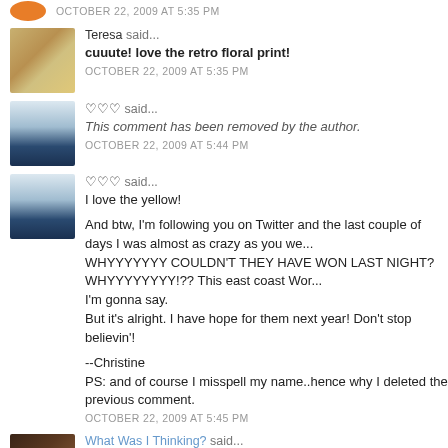OCTOBER 22, 2009 AT 5:35 PM
Teresa said...
cuuute! love the retro floral print!
OCTOBER 22, 2009 AT 5:35 PM
♡♡♡ said...
This comment has been removed by the author.
OCTOBER 22, 2009 AT 5:44 PM
♡♡♡ said...
I love the yellow!

And btw, I'm following you on Twitter and the last couple of days I was almost as crazy as you we... WHYYYYYYY COULDN'T THEY HAVE WON LAST NIGHT? WHYYYYYYYY!?? This east coast Wor... I'm gonna say.
But it's alright. I have hope for them next year! Don't stop believin'!

--Christine
PS: and of course I misspell my name..hence why I deleted the previous comment.
OCTOBER 22, 2009 AT 5:45 PM
What Was I Thinking? said...
You look so cute & I love the loafers, it's fun finding things in your own closet!!
<3 Christine